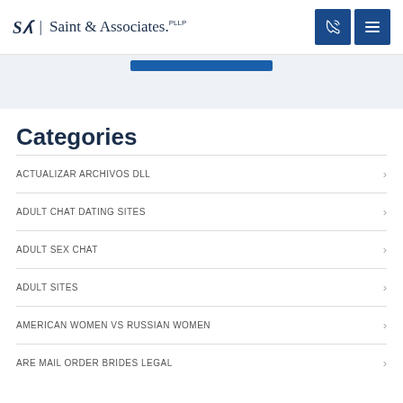Saint & Associates. PLLP
[Figure (screenshot): Blue banner strip with a blue horizontal bar element]
Categories
ACTUALIZAR ARCHIVOS DLL
ADULT CHAT DATING SITES
ADULT SEX CHAT
ADULT SITES
AMERICAN WOMEN VS RUSSIAN WOMEN
ARE MAIL ORDER BRIDES LEGAL